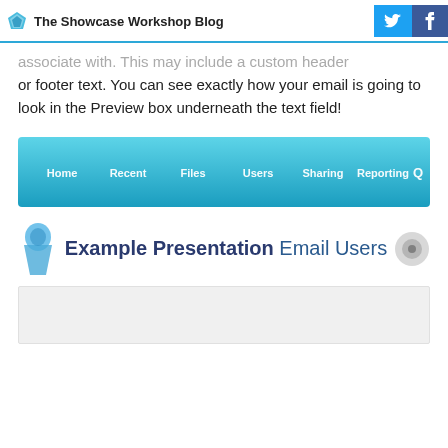The Showcase Workshop Blog
or footer text. You can see exactly how your email is going to look in the Preview box underneath the text field!
[Figure (screenshot): Navigation bar with teal/blue gradient background showing menu items: Home, Recent, Files, Users, Sharing, Reporting, and a search icon]
[Figure (screenshot): App banner showing 'Example Presentation Email Users' title with app icons on left and right]
[Figure (screenshot): Light grey preview box area at the bottom]